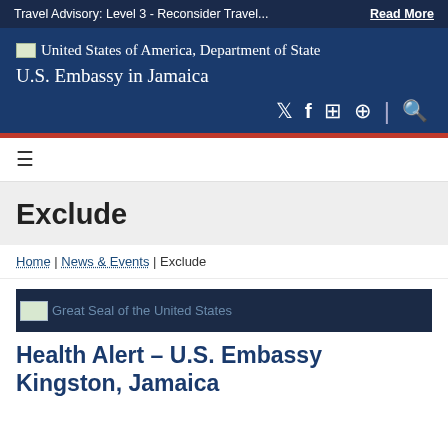Travel Advisory: Level 3 - Reconsider Travel...  Read More
United States of America, Department of State
U.S. Embassy in Jamaica
[Figure (screenshot): Navigation bar with hamburger menu icon]
Exclude
Home | News & Events | Exclude
[Figure (photo): Great Seal of the United States banner image on dark navy background]
Health Alert – U.S. Embassy Kingston, Jamaica